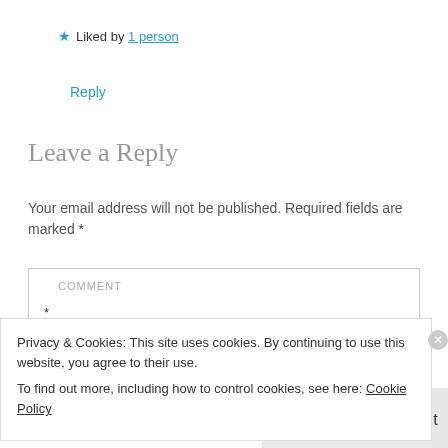★ Liked by 1 person
Reply
Leave a Reply
Your email address will not be published. Required fields are marked *
COMMENT
*
Privacy & Cookies: This site uses cookies. By continuing to use this website, you agree to their use.
To find out more, including how to control cookies, see here: Cookie Policy
Close and accept